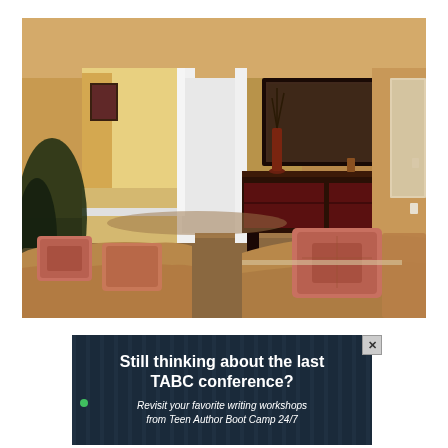[Figure (photo): Interior living room photo showing a furnished room with tan/gold walls, brown carpet flooring, dark wood dresser/console table against the back wall with a large dark-framed mirror above it, decorative vases and figurines on the dresser, two sofas with patterned fabric and decorative pillows in the foreground, and doorways/hallway visible in the background left.]
[Figure (screenshot): Advertisement banner with dark background featuring vertical bar pattern. Bold white text reads 'Still thinking about the last TABC conference?' followed by smaller white text 'Revisit your favorite writing workshops from Teen Author Boot Camp 24/7'. Has a close/X button in the top right corner and a green dot indicator on the left side.]